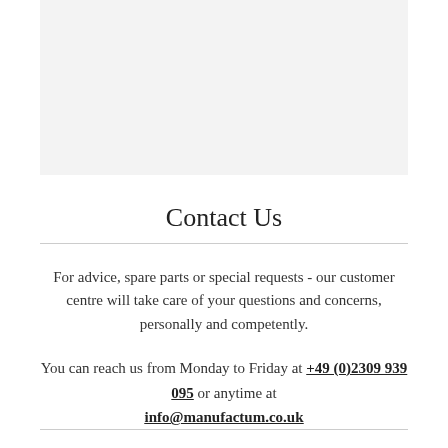[Figure (photo): Gray shaded rectangular area at top of page]
Contact Us
For advice, spare parts or special requests - our customer centre will take care of your questions and concerns, personally and competently.
You can reach us from Monday to Friday at +49 (0)2309 939 095 or anytime at info@manufactum.co.uk